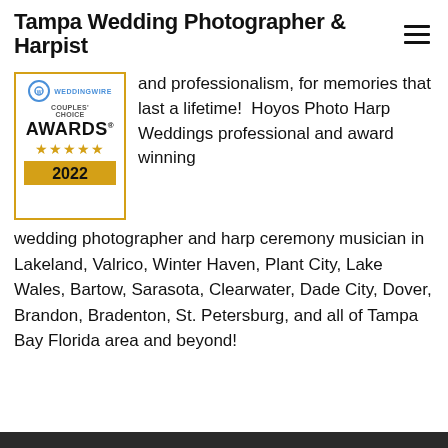Tampa Wedding Photographer & Harpist
[Figure (logo): WeddingWire Couples' Choice Awards 2022 badge with gold border, 5 gold stars, and gold bottom band]
and professionalism, for memories that last a lifetime! Hoyos Photo Harp Weddings professional and award winning wedding photographer and harp ceremony musician in Lakeland, Valrico, Winter Haven, Plant City, Lake Wales, Bartow, Sarasota, Clearwater, Dade City, Dover, Brandon, Bradenton, St. Petersburg, and all of Tampa Bay Florida area and beyond!